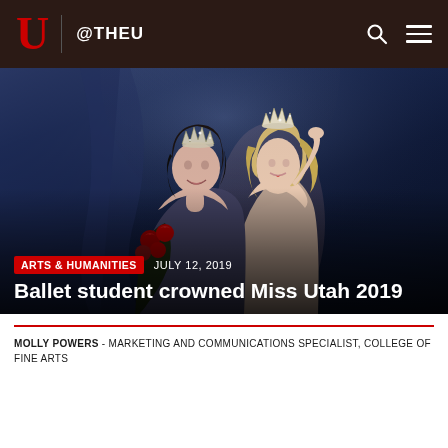U @THEU
[Figure (photo): Two women at a pageant crowning ceremony. A blonde woman wearing a crown places a tiara on a dark-haired woman who is smiling and holding red roses. Both are in formal attire on a dark stage.]
ARTS & HUMANITIES   JULY 12, 2019
Ballet student crowned Miss Utah 2019
MOLLY POWERS - MARKETING AND COMMUNICATIONS SPECIALIST, COLLEGE OF FINE ARTS